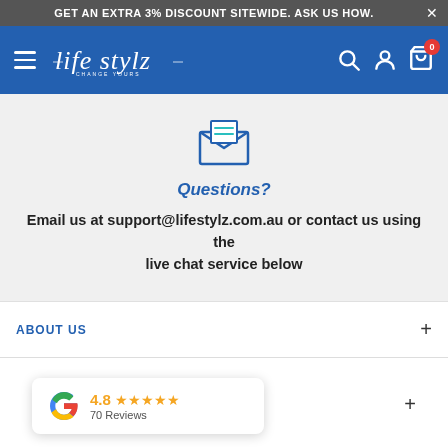GET AN EXTRA 3% DISCOUNT SITEWIDE. ASK US HOW. ×
[Figure (logo): Life Stylz logo on blue navigation bar with hamburger menu, search, account, and cart icons]
[Figure (illustration): Envelope icon (open letter)]
Questions?
Email us at support@lifestylz.com.au or contact us using the live chat service below
ABOUT US
[Figure (other): Google reviews widget showing 4.8 rating with 5 stars and 70 Reviews]